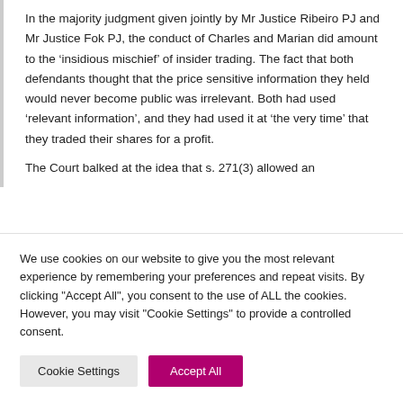In the majority judgment given jointly by Mr Justice Ribeiro PJ and Mr Justice Fok PJ, the conduct of Charles and Marian did amount to the ‘insidious mischief’ of insider trading. The fact that both defendants thought that the price sensitive information they held would never become public was irrelevant. Both had used ‘relevant information’, and they had used it at ‘the very time’ that they traded their shares for a profit.
The Court balked at the idea that s. 271(3) allowed an
We use cookies on our website to give you the most relevant experience by remembering your preferences and repeat visits. By clicking "Accept All", you consent to the use of ALL the cookies. However, you may visit "Cookie Settings" to provide a controlled consent.